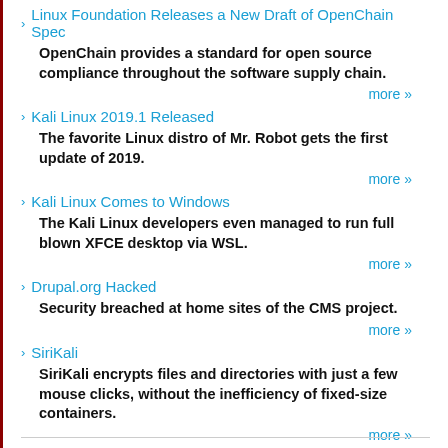Linux Foundation Releases a New Draft of OpenChain Spec
OpenChain provides a standard for open source compliance throughout the software supply chain.
more »
Kali Linux 2019.1 Released
The favorite Linux distro of Mr. Robot gets the first update of 2019.
more »
Kali Linux Comes to Windows
The Kali Linux developers even managed to run full blown XFCE desktop via WSL.
more »
Drupal.org Hacked
Security breached at home sites of the CMS project.
more »
SiriKali
SiriKali encrypts files and directories with just a few mouse clicks, without the inefficiency of fixed-size containers.
more »